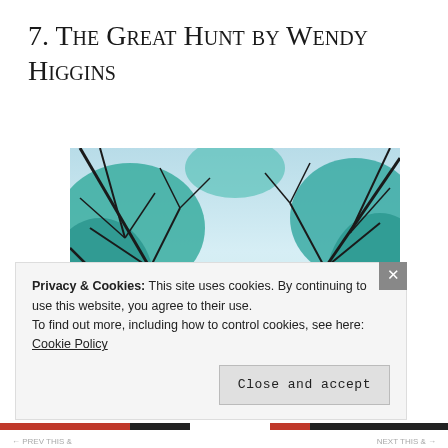7. The Great Hunt by Wendy Higgins
[Figure (photo): A photo looking up through teal-tinted bare tree branches at a pale sky, with a woman with long red hair standing below in the center of the image.]
Privacy & Cookies: This site uses cookies. By continuing to use this website, you agree to their use.
To find out more, including how to control cookies, see here: Cookie Policy
Close and accept